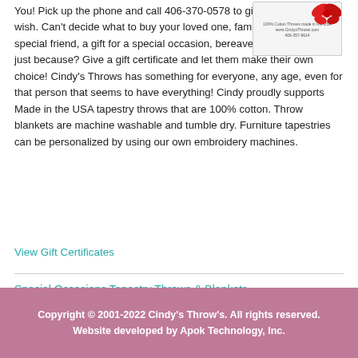You! Pick up the phone and call 406-370-0578 to give the amount you wish. Can't decide what to buy your loved one, family member or special friend, a gift for a special occasion, bereavement, holiday or just because? Give a gift certificate and let them make their own choice! Cindy's Throws has something for everyone, any age, even for that person that seems to have everything! Cindy proudly supports Made in the USA tapestry throws that are 100% cotton. Throw blankets are machine washable and tumble dry. Furniture tapestries can be personalized by using our own embroidery machines.
[Figure (other): Gift certificate card with red bow decoration and text about 100% Cotton Throws made in the USA from CindysThrows.com, phone 406-357-9614]
View Gift Certificates
Special Occasions Tapestry Throws & Blankets
Family & Friends Tapestry Throws & Blankets
Copyright © 2001-2022 Cindy's Throw's. All rights reserved. Website developed by Apok Technology, Inc.